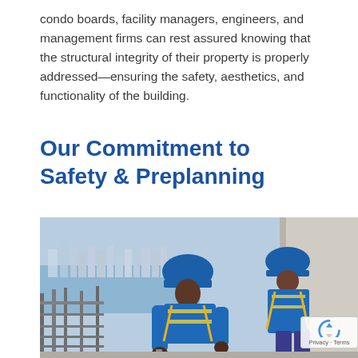condo boards, facility managers, engineers, and management firms can rest assured knowing that the structural integrity of their property is properly addressed—ensuring the safety, aesthetics, and functionality of the building.
Our Commitment to Safety & Preplanning
[Figure (photo): Two construction workers wearing blue hard hats and safety harnesses working on a high-rise building structure, with a coastal city skyline and water visible in the background.]